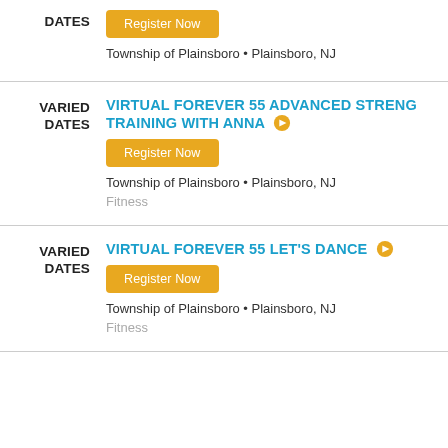DATES
Register Now
Township of Plainsboro • Plainsboro, NJ
VARIED DATES
VIRTUAL FOREVER 55 ADVANCED STRENGTH TRAINING WITH ANNA
Register Now
Township of Plainsboro • Plainsboro, NJ
Fitness
VARIED DATES
VIRTUAL FOREVER 55 LET'S DANCE
Register Now
Township of Plainsboro • Plainsboro, NJ
Fitness